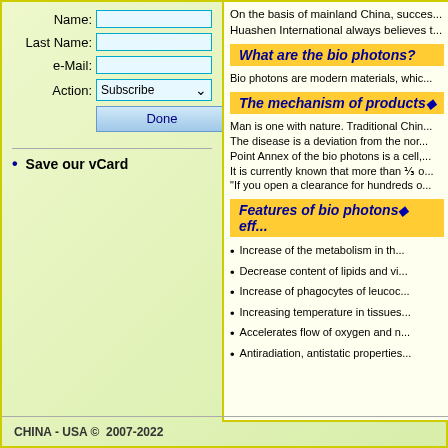Name: [input field]
Last Name: [input field]
e-Mail: [input field]
Action: Subscribe [dropdown]
Done [button]
Save our vCard
On the basis of mainland China, succes... Huashen International always believes t...
What are the bio photons?
Bio photons are modern materials, whic...
The mechanism of products◆
Man is one with nature. Traditional Chin... The disease is a deviation from the nor... Point Annex of the bio photons is a cell,... It is currently known that more than ⅓ o... "If you open a clearance for hundreds o...
Features of bio photons◆ eff...
Increase of the metabolism in th...
Decrease content of lipids and vi...
Increase of phagocytes of leucoc...
Increasing temperature in tissues...
Accelerates flow of oxygen and n...
Antiradiation, antistatic properties...
CHINA - USA © 2007-2022